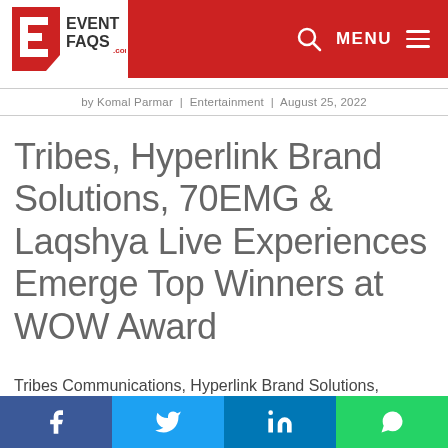EventFaqs.com — MENU
by Komal Parmar | Entertainment | August 25, 2022
Tribes, Hyperlink Brand Solutions, 70EMG & Laqshya Live Experiences Emerge Top Winners at WOW Award
Tribes Communications, Hyperlink Brand Solutions, 70EMG and Laqshya Live Experiences
Social share bar: Facebook, Twitter, LinkedIn, WhatsApp